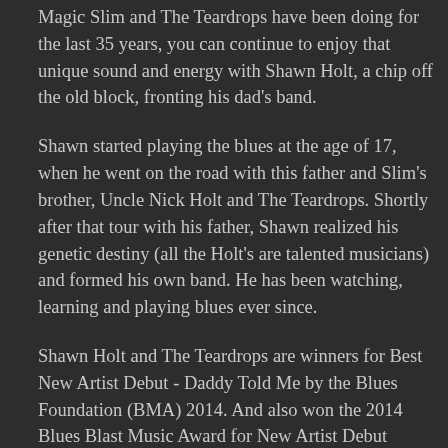Teardrops is still alive and well and if you like what Magic Slim and The Teardrops have been doing for the last 35 years, you can continue to enjoy that unique sound and energy with Shawn Holt, a chip off the old block, fronting his dad's band.
Shawn started playing the blues at the age of 17, when he went on the road with this father and Slim's brother, Uncle Nick Holt and The Teardrops. Shortly after that tour with his father, Shawn realized his genetic destiny (all the Holt's are talented musicians) and formed his own band. He has been watching, learning and playing blues ever since.
Shawn Holt and The Teardrops are winners for Best New Artist Debut - Daddy Told Me by the Blues Foundation (BMA) 2014. And also won the 2014 Blues Blast Music Award for New Artist Debut Album - Daddy Told Me.